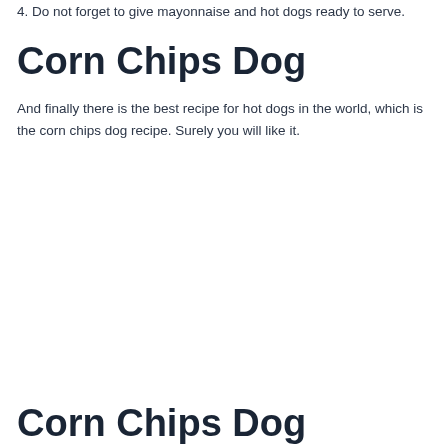4. Do not forget to give mayonnaise and hot dogs ready to serve.
Corn Chips Dog
And finally there is the best recipe for hot dogs in the world, which is the corn chips dog recipe. Surely you will like it.
Corn Chips Dog